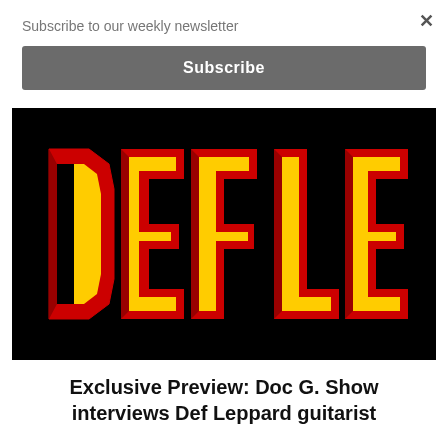Subscribe to our weekly newsletter
Subscribe
[Figure (logo): Def Leppard band logo in red and yellow stylized lettering on black background]
Exclusive Preview: Doc G. Show interviews Def Leppard guitarist